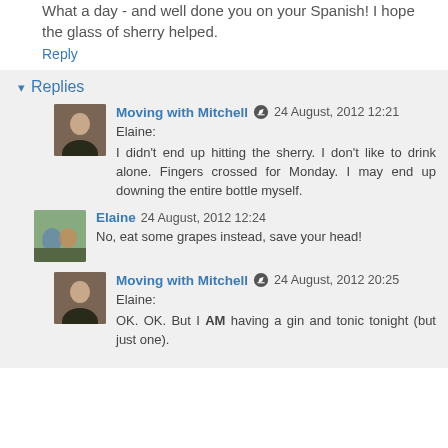What a day - and well done you on your Spanish! I hope the glass of sherry helped.
Reply
▾ Replies
Moving with Mitchell · 24 August, 2012 12:21
Elaine:
I didn't end up hitting the sherry. I don't like to drink alone. Fingers crossed for Monday. I may end up downing the entire bottle myself.
Elaine · 24 August, 2012 12:24
No, eat some grapes instead, save your head!
Moving with Mitchell · 24 August, 2012 20:25
Elaine:
OK. OK. But I AM having a gin and tonic tonight (but just one).